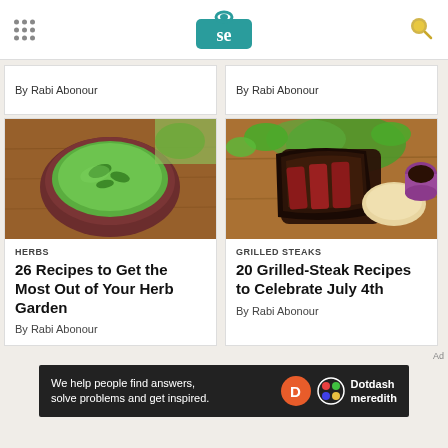Serious Eats (SE logo)
By Rabi Abonour
By Rabi Abonour
[Figure (photo): Bowl of green herb puree/sauce with basil leaves on wooden surface]
HERBS
26 Recipes to Get the Most Out of Your Herb Garden
By Rabi Abonour
[Figure (photo): Grilled steak slices with tortillas, greens and a dark dipping sauce]
GRILLED STEAKS
20 Grilled-Steak Recipes to Celebrate July 4th
By Rabi Abonour
We help people find answers, solve problems and get inspired.
Dotdash meredith